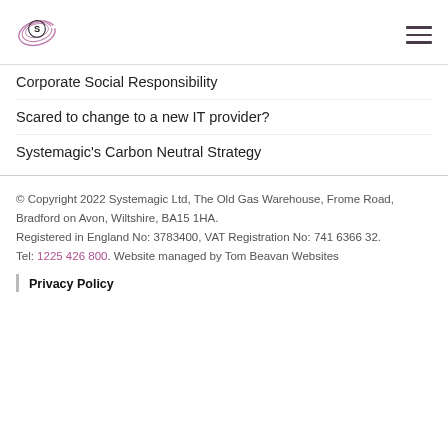[Figure (logo): Systemagic logo: circular S with signal waves]
Corporate Social Responsibility
Scared to change to a new IT provider?
Systemagic's Carbon Neutral Strategy
© Copyright 2022 Systemagic Ltd, The Old Gas Warehouse, Frome Road, Bradford on Avon, Wiltshire, BA15 1HA. Registered in England No: 3783400, VAT Registration No: 741 6366 32. Tel: 1225 426 800. Website managed by Tom Beavan Websites
Privacy Policy